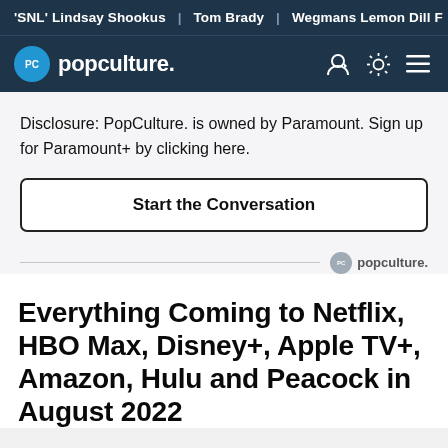'SNL' Lindsay Shookus | Tom Brady | Wegmans Lemon Dill F
[Figure (logo): PopCulture.com navigation bar with PC logo, popculture. wordmark, and icons for user account, theme toggle, and menu]
Disclosure: PopCulture. is owned by Paramount. Sign up for Paramount+ by clicking here.
Start the Conversation
[Figure (logo): PopCulture logo watermark small — PC circle and 'popculture.' text in grey]
Everything Coming to Netflix, HBO Max, Disney+, Apple TV+, Amazon, Hulu and Peacock in August 2022